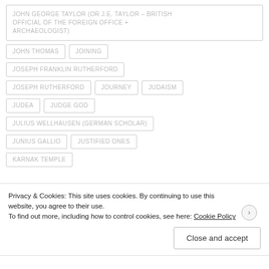JOHN GEORGE TAYLOR (OR J.E. TAYLOR – BRITISH OFFICIAL OF THE FOREIGN OFFICE + ARCHAEOLOGIST)
JOHN THOMAS
JOINING
JOSEPH FRANKLIN RUTHERFORD
JOSEPH RUTHERFORD
JOURNEY
JUDAISM
JUDEA
JUDGE GOD
JULIUS WELLHAUSEN (GERMAN SCHOLAR)
JUNIUS GALLIO
JUSTIFIED ONES
KARNAK TEMPLE
Privacy & Cookies: This site uses cookies. By continuing to use this website, you agree to their use. To find out more, including how to control cookies, see here: Cookie Policy